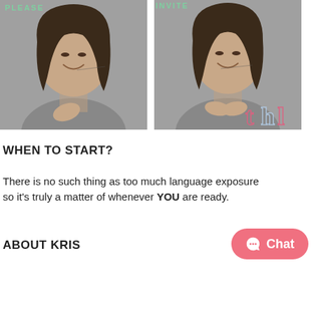[Figure (photo): Two side-by-side black and white photos of a smiling woman. Left photo shows her with hand on chest. Right photo shows her with hands clasped in front. Labels 'PLEASE' and 'INVITE' appear at top. A 'thl' logo appears at bottom right of the right photo.]
WHEN TO START?
There is no such thing as too much language exposure so it's truly a matter of whenever YOU are ready.
ABOUT KRIS